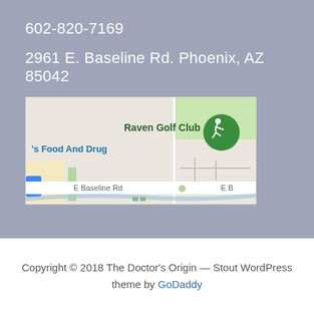602-820-7169
2961 E. Baseline Rd. Phoenix, AZ 85042
[Figure (map): Google Maps screenshot showing E Baseline Rd in Phoenix, AZ with Raven Golf Club visible in the upper right area of the map]
Copyright © 2018 The Doctor's Origin — Stout WordPress theme by GoDaddy